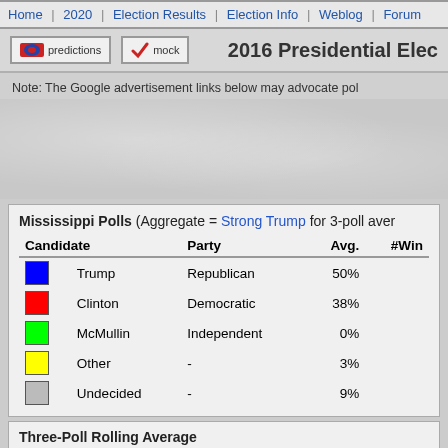Home | 2020 | Election Results | Election Info | Weblog | Forum
2016 Presidential Elec...
Note: The Google advertisement links below may advocate pol...
| Candidate | Party | Avg. | #Win |
| --- | --- | --- | --- |
| Trump | Republican | 50% |  |
| Clinton | Democratic | 38% |  |
| McMullin | Independent | 0% |  |
| Other | - | 3% |  |
| Undecided | - | 9% |  |
Three-Poll Rolling Average